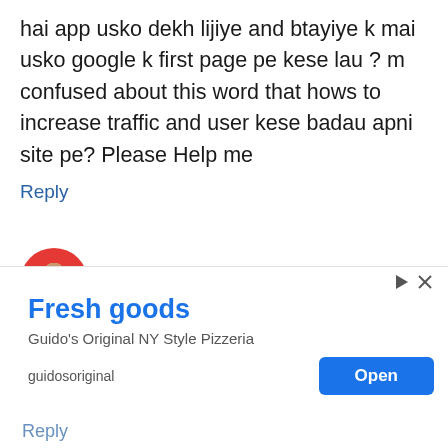hai app usko dekh lijiye and btayiye k mai usko google k first page pe kese lau ? m confused about this word that hows to increase traffic and user kese badau apni site pe? Please Help me
Reply
Jumedeen Khan
[Figure (photo): Avatar photo of Jumedeen Khan, a man in a white shirt on a red circular background]
Sabse pahle aap blog ko achhe se design karo usko bad blog me achhi
[Figure (screenshot): Advertisement banner for 'Fresh goods' - Guido's Original NY Style Pizzeria with an Open button]
Reply